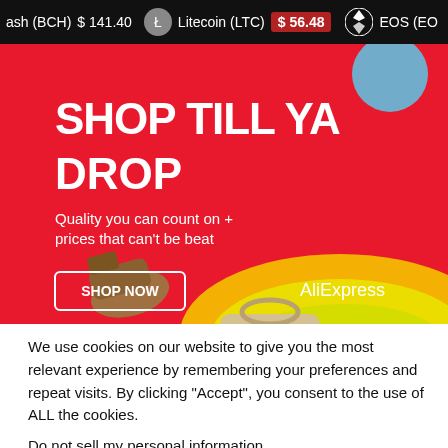ash (BCH) $141.40   Litecoin (LTC) $56.48   EOS (EO
[Figure (screenshot): AliExpress advertisement banner with red background, text 'SHOP TILL YA DROP', subtext 'Quality you can count on + prices that can't be beat', woman with hands on head expression, products (shoes, sunglasses, handbag), rainbow swoosh, SHOP NOW button, AliExpress branding]
We use cookies on our website to give you the most relevant experience by remembering your preferences and repeat visits. By clicking “Accept”, you consent to the use of ALL the cookies.
Do not sell my personal information.
Cookie settings   ACCEPT